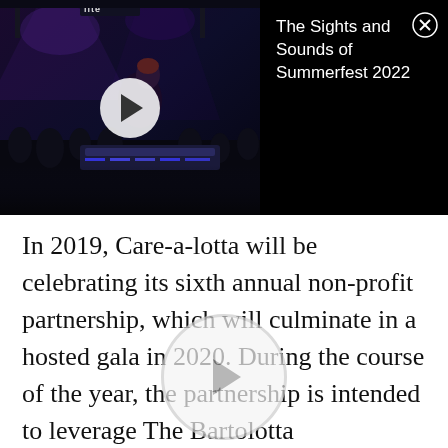[Figure (screenshot): Video thumbnail showing a dark concert/event scene with a person at a mixing board, crowd in background, Miller Lite sign visible, with a white play button overlay. Right side shows black panel with white text title 'The Sights and Sounds of Summerfest 2022' and a close (X) button.]
In 2019, Care-a-lotta will be celebrating its sixth annual non-profit partnership, which will culminate in a hosted gala in 2020. During the course of the year, the partnership is intended to leverage The Bartolotta Restaurants' resources and brand to raise awareness and funds for a local nonprofit.
[Figure (screenshot): Partial circular play button (grey outline circle with triangular play icon) visible at the bottom center of the page, partially cut off.]